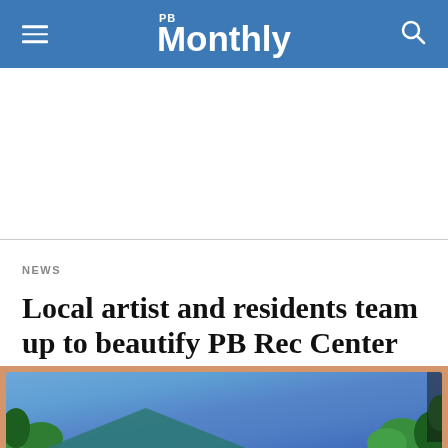PB Monthly
[Figure (other): Advertisement placeholder area, white background]
NEWS
Local artist and residents team up to beautify PB Rec Center with surfboard murals
[Figure (photo): Partial photo at bottom of page showing a colorful mural with blue sky background and tropical green foliage on right side, with a peach/tan border frame]